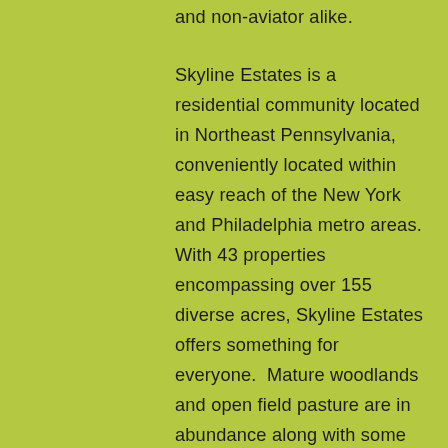and non-aviator alike.

Skyline Estates is a residential community located in Northeast Pennsylvania, conveniently located within easy reach of the New York and Philadelphia metro areas. With 43 properties encompassing over 155 diverse acres, Skyline Estates offers something for everyone. Mature woodlands and open field pasture are in abundance along with some properties having lake frontage. Lots range in size from one to eight acres with many offering dramatic views of the Endless Mountains and the wonderful sunrises and sunsets. All lots have underground public sewer, electricity, telephone and data communications. Most are also located on private paved...